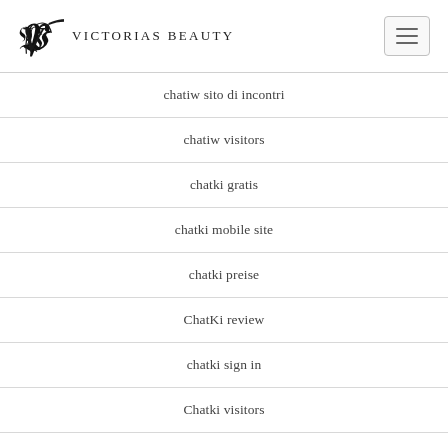Victorias Beauty
chatiw sito di incontri
chatiw visitors
chatki gratis
chatki mobile site
chatki preise
ChatKi review
chatki sign in
Chatki visitors
chatki-inceleme visitors